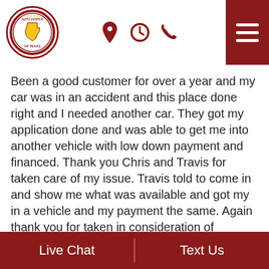[Figure (logo): Auto Center of Texas circular logo with Texas state outline]
Been a good customer for over a year and my car was in an accident and this place done right and I needed another car. They got my application done and was able to get me into another vehicle with low down payment and financed. Thank you Chris and Travis for taken care of my issue. Travis told to come in and show me what was available and got my in a vehicle and my payment the same. Again thank you for taken in consideration of understanding and Chris thank again. I will be back again to get ano… More
Michael Pierce
2019-12-07
Live Chat   Text Us